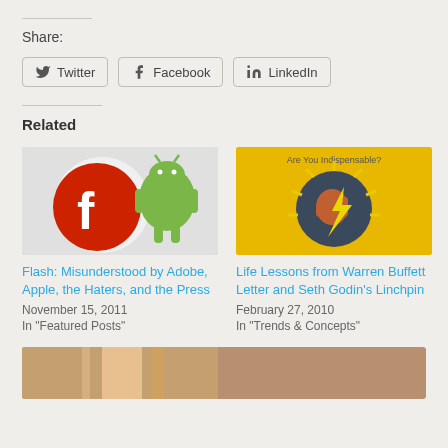Share:
Twitter  Facebook  LinkedIn
Related
[Figure (illustration): Adobe Flash logo (red F circle) overlaid with Android robot logo (green) on grey background]
Flash: Misunderstood by Adobe, Apple, the Haters, and the Press
November 15, 2011
In "Featured Posts"
[Figure (illustration): Yellow book cover 'Are You Indispensable?' with a fist holding a lightning bolt on a dark circular background]
Life Lessons from Warren Buffett Letter and Seth Godin's Linchpin
February 27, 2010
In "Trends & Concepts"
[Figure (photo): Partial bottom image, cut off at page edge]